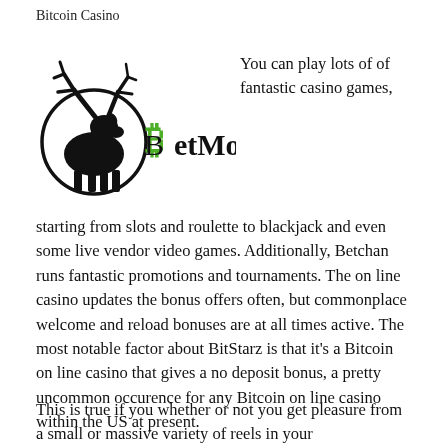Bitcoin Casino
[Figure (logo): BetMoose logo with a black moose silhouette inside a circle and green Bitcoin symbol followed by bold text 'BetMoose']
You can play lots of of fantastic casino games, starting from slots and roulette to blackjack and even some live vendor video games. Additionally, Betchan runs fantastic promotions and tournaments. The on line casino updates the bonus offers often, but commonplace welcome and reload bonuses are at all times active. The most notable factor about BitStarz is that it's a Bitcoin on line casino that gives a no deposit bonus, a pretty uncommon occurence for any Bitcoin on line casino within the US at present.
This is true if you whether or not you get pleasure from a small or massive variety of reels in your